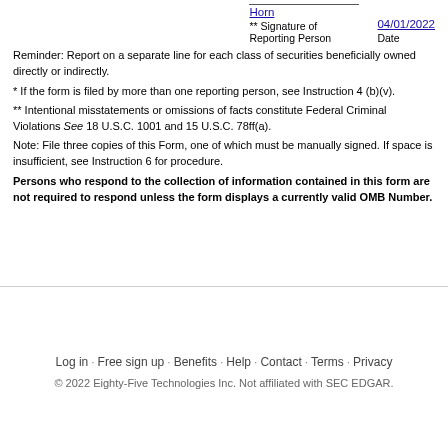** Signature of Reporting Person  Date
Horn  04/01/2022
Reminder: Report on a separate line for each class of securities beneficially owned directly or indirectly.
* If the form is filed by more than one reporting person, see Instruction 4 (b)(v).
** Intentional misstatements or omissions of facts constitute Federal Criminal Violations See 18 U.S.C. 1001 and 15 U.S.C. 78ff(a).
Note: File three copies of this Form, one of which must be manually signed. If space is insufficient, see Instruction 6 for procedure.
Persons who respond to the collection of information contained in this form are not required to respond unless the form displays a currently valid OMB Number.
Log in · Free sign up · Benefits · Help · Contact · Terms · Privacy
© 2022 Eighty-Five Technologies Inc. Not affiliated with SEC EDGAR.